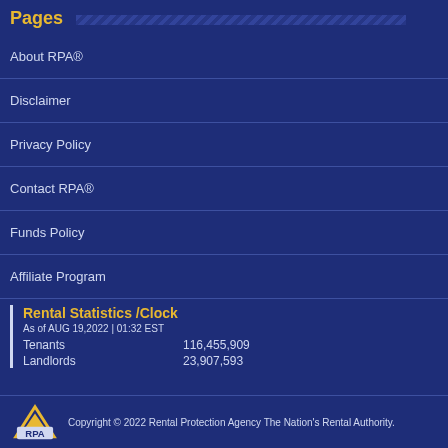Pages
About RPA®
Disclaimer
Privacy Policy
Contact RPA®
Funds Policy
Affiliate Program
Rental Statistics /Clock
As of AUG 19,2022 | 01:32 EST
Tenants    116,455,909
Landlords  23,907,593
Copyright © 2022 Rental Protection Agency The Nation's Rental Authority.